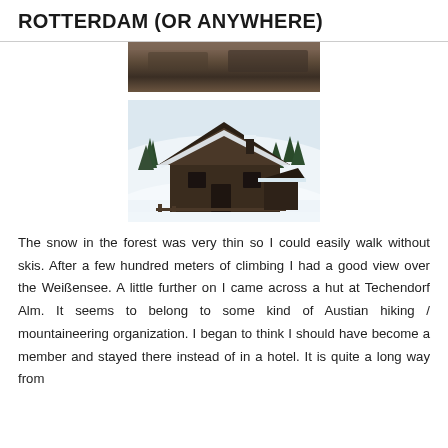ROTTERDAM (OR ANYWHERE)
[Figure (photo): Partial top of a landscape/aerial photo showing dark earthy tones, cut off at top]
[Figure (photo): A snow-covered wooden mountain hut/chalet at Techendorf Alm with trees in the snowy background]
The snow in the forest was very thin so I could easily walk without skis. After a few hundred meters of climbing I had a good view over the Weißensee. A little further on I came across a hut at Techendorf Alm. It seems to belong to some kind of Austian hiking / mountaineering organization. I began to think I should have become a member and stayed there instead of in a hotel. It is quite a long way from